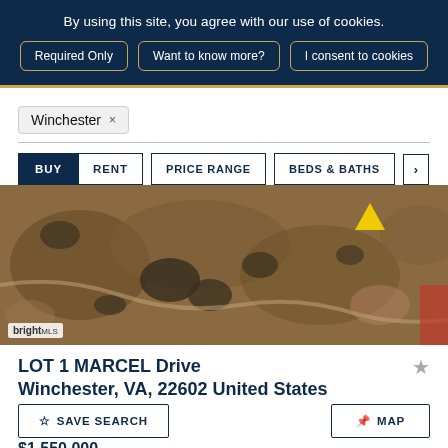By using this site, you agree with our use of cookies.
Required Only | Want to know more? | I consent to cookies
Winchester ×
BUY  RENT  PRICE RANGE  BEDS & BATHS  >
[Figure (photo): Aerial satellite view of rural land with sparse trees and brown terrain]
LOT 1 MARCEL Drive Winchester, VA, 22602 United States
SAVE SEARCH
MAP
$1,550,000
0.13 Acre(s)